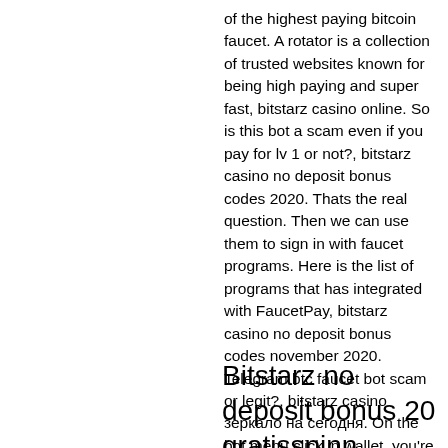of the highest paying bitcoin faucet. A rotator is a collection of trusted websites known for being high paying and super fast, bitstarz casino online. So is this bot a scam even if you pay for lv 1 or not?, bitstarz casino no deposit bonus codes 2020. Thats the real question. Then we can use them to sign in with faucet programs. Here is the list of programs that has integrated with FaucetPay, bitstarz casino no deposit bonus codes november 2020. Telegram btc faucet bot scam or legit?, bitstarz casino зеркало на сегодня. On the bot menu click in wallet, you're going to see all information from your wallet including the amount of trade you did the balance in USD, The equivalent in.
Bitstarz no deposit bonus 20 gratisspinn,